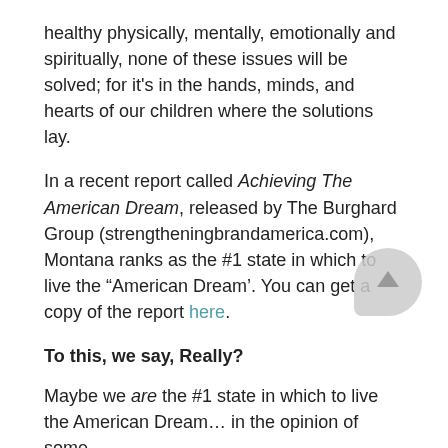healthy physically, mentally, emotionally and spiritually, none of these issues will be solved; for it's in the hands, minds, and hearts of our children where the solutions lay.
In a recent report called Achieving The American Dream, released by The Burghard Group (strengtheningbrandamerica.com), Montana ranks as the #1 state in which to live the “American Dream’. You can get a copy of the report here.
To this, we say, Really?
Maybe we are the #1 state in which to live the American Dream… in the opinion of some.
Maybe we are the #1 state for entrepreneurs (according to a Montana State government website).
Maybe we are one of the nation’s best kept secrets, and